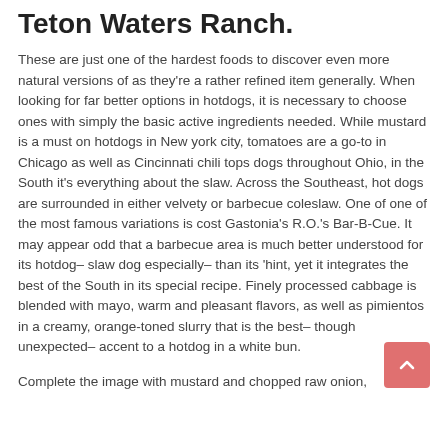Teton Waters Ranch.
These are just one of the hardest foods to discover even more natural versions of as they're a rather refined item generally. When looking for far better options in hotdogs, it is necessary to choose ones with simply the basic active ingredients needed. While mustard is a must on hotdogs in New york city, tomatoes are a go-to in Chicago as well as Cincinnati chili tops dogs throughout Ohio, in the South it's everything about the slaw. Across the Southeast, hot dogs are surrounded in either velvety or barbecue coleslaw. One of one of the most famous variations is cost Gastonia's R.O.'s Bar-B-Cue. It may appear odd that a barbecue area is much better understood for its hotdog– slaw dog especially– than its 'hint, yet it integrates the best of the South in its special recipe. Finely processed cabbage is blended with mayo, warm and pleasant flavors, as well as pimientos in a creamy, orange-toned slurry that is the best– though unexpected– accent to a hotdog in a white bun.
Complete the image with mustard and chopped raw onion,